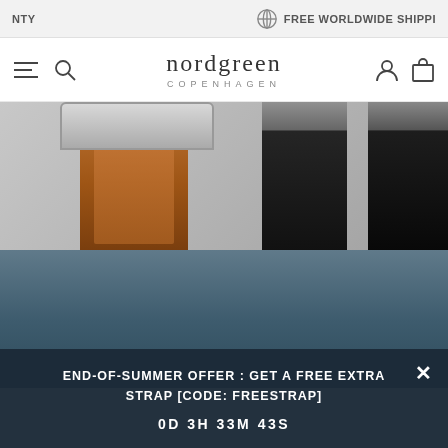NTY  FREE WORLDWIDE SHIPPI
[Figure (logo): Nordgreen Copenhagen logo with navigation icons (hamburger menu, search, user account, shopping bag)]
[Figure (photo): Close-up photo of watch straps: a brown leather strap with watch head on the left, and two black leather straps on the right, against a gray background]
[Figure (photo): Dark blue-gray background photo, partially visible below the strap photo]
END-OF-SUMMER OFFER : GET A FREE EXTRA STRAP [CODE: FREESTRAP]
0D 3H 33M 43S